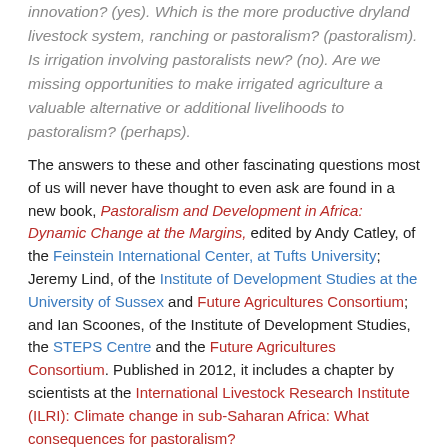innovation? (yes). Which is the more productive dryland livestock system, ranching or pastoralism? (pastoralism). Is irrigation involving pastoralists new? (no). Are we missing opportunities to make irrigated agriculture a valuable alternative or additional livelihoods to pastoralism? (perhaps).
The answers to these and other fascinating questions most of us will never have thought to even ask are found in a new book, Pastoralism and Development in Africa: Dynamic Change at the Margins, edited by Andy Catley, of the Feinstein International Center, at Tufts University; Jeremy Lind, of the Institute of Development Studies at the University of Sussex and Future Agricultures Consortium; and Ian Scoones, of the Institute of Development Studies, the STEPS Centre and the Future Agricultures Consortium. Published in 2012, it includes a chapter by scientists at the International Livestock Research Institute (ILRI): Climate change in sub-Saharan Africa: What consequences for pastoralism?
Thirty-six experts in pastoral development update us on